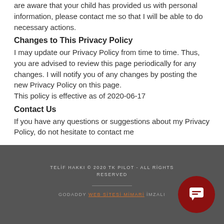are aware that your child has provided us with personal information, please contact me so that I will be able to do necessary actions.
Changes to This Privacy Policy
I may update our Privacy Policy from time to time. Thus, you are advised to review this page periodically for any changes. I will notify you of any changes by posting the new Privacy Policy on this page.
This policy is effective as of 2020-06-17
Contact Us
If you have any questions or suggestions about my Privacy Policy, do not hesitate to contact me
TELİF HAKKI © 2020 TK PILOT - ALL RİGHTS RESERVED
GODADDY WEB SİTESİ MİMARİ İMZALI